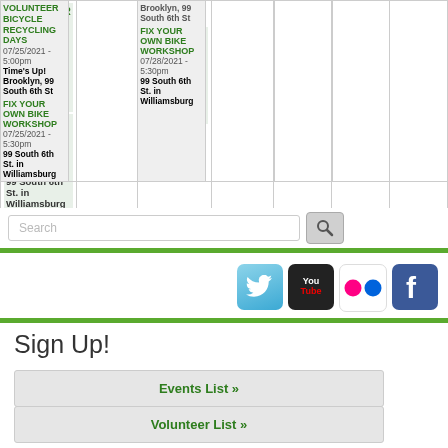| Sun | Mon | Tue | Wed | Thu | Fri | Sat |
| --- | --- | --- | --- | --- | --- | --- |
| VOLUNTEER BICYCLE RECYCLING DAYS
07/25/2021 - 5:00pm
Time's Up! Brooklyn, 99 South 6th St
FIX YOUR OWN BIKE WORKSHOP
07/25/2021 - 5:30pm
99 South 6th St. in Williamsburg |  | Brooklyn, 99
South 6th St
FIX YOUR OWN BIKE WORKSHOP
07/28/2021 - 5:30pm
99 South 6th St. in Williamsburg |  |  |  |  |
Search
[Figure (screenshot): Social media icons: Twitter, YouTube, Flickr, Facebook]
Sign Up!
Events List »
Volunteer List »